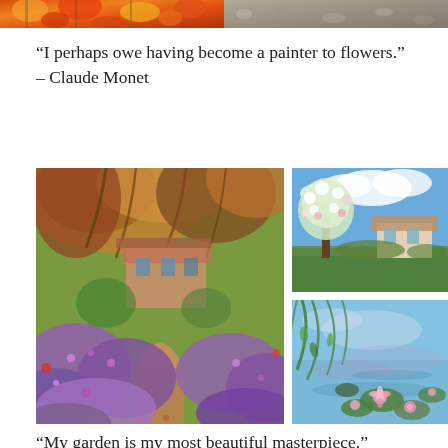[Figure (photo): Two cropped photos at top: left shows orange/red flowers, right shows a grey gravel path or surface]
“I perhaps owe having become a painter to flowers.” – Claude Monet
[Figure (illustration): Large Monet painting: The Artist's Garden at Giverny with irises and house]
[Figure (illustration): Small Monet painting: Spring blossoming trees with white flowers and house]
[Figure (illustration): Small Monet painting: Water lilies pond with weeping willows]
“My garden is my most beautiful masterpiece.”